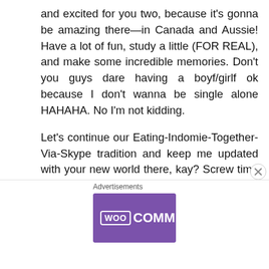and excited for you two, because it's gonna be amazing there—in Canada and Aussie! Have a lot of fun, study a little (FOR REAL), and make some incredible memories. Don't you guys dare having a boyf/girlf ok because I don't wanna be single alone HAHAHA. No I'm not kidding.

Let's continue our Eating-Indomie-Together-Via-Skype tradition and keep me updated with your new world there, kay? Screw time differences, we're gonna make it! #LongDistanceFriendship (Ok I kinda hate it—why do I have to deal with long distance all these years....)
[Figure (infographic): WooCommerce advertisement banner with purple left section showing WooCommerce logo and teal arrow, and light grey right section with text 'How to start selling subscriptions online' and orange/blue decorative blobs]
Advertisements